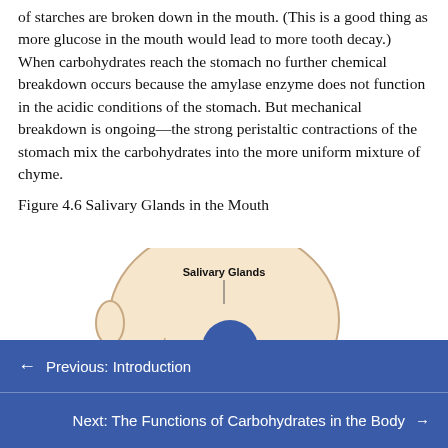of starches are broken down in the mouth. (This is a good thing as more glucose in the mouth would lead to more tooth decay.) When carbohydrates reach the stomach no further chemical breakdown occurs because the amylase enzyme does not function in the acidic conditions of the stomach. But mechanical breakdown is ongoing—the strong peristaltic contractions of the stomach mix the carbohydrates into the more uniform mixture of chyme.
Figure 4.6 Salivary Glands in the Mouth
[Figure (illustration): Illustration of a human head in profile showing salivary glands in the mouth. Labels visible: 'Salivary Glands' at the top and 'Parotid Gl...' (Parotid Gland) with an upward arrow indicator.]
← Previous: Introduction
Next: The Functions of Carbohydrates in the Body →